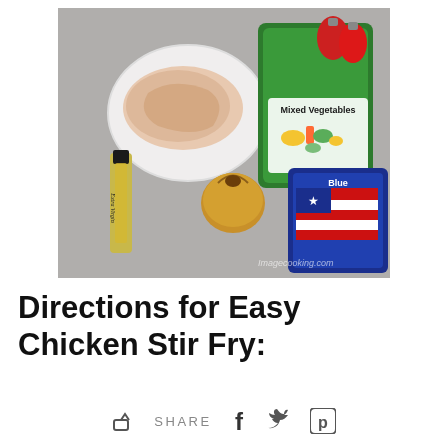[Figure (photo): Ingredients for Easy Chicken Stir Fry laid out on a counter: raw chicken breast on a white plate, a bottle of olive oil, a yellow onion, a bag of frozen mixed vegetables, a bag of Blue Diamond rice, and red pepper shakers. Imagecooking.com watermark visible.]
Directions for Easy Chicken Stir Fry:
SHARE [share icon] [facebook icon] [twitter icon] [pinterest icon]